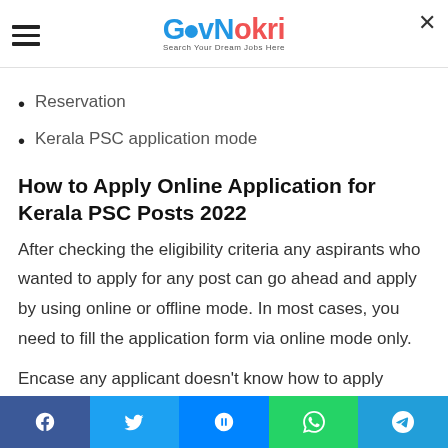GovNokri - Search Your Dream Jobs Here
Reservation
Kerala PSC application mode
How to Apply Online Application for Kerala PSC Posts 2022
After checking the eligibility criteria any aspirants who wanted to apply for any post can go ahead and apply by using online or offline mode. In most cases, you need to fill the application form via online mode only.
Encase any applicant doesn't know how to apply